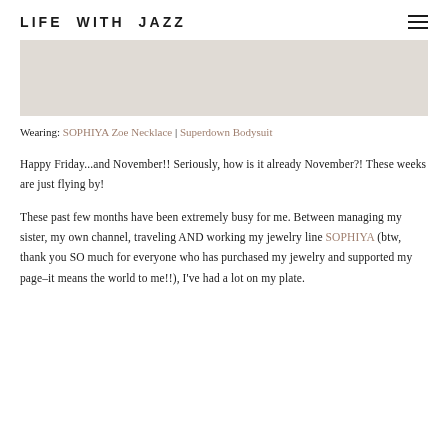LIFE WITH JAZZ
[Figure (photo): Light beige/gray rectangular hero image placeholder]
Wearing: SOPHIYA Zoe Necklace | Superdown Bodysuit
Happy Friday...and November!! Seriously, how is it already November?! These weeks are just flying by!
These past few months have been extremely busy for me. Between managing my sister, my own channel, traveling AND working my jewelry line SOPHIYA (btw, thank you SO much for everyone who has purchased my jewelry and supported my page–it means the world to me!!), I've had a lot on my plate.